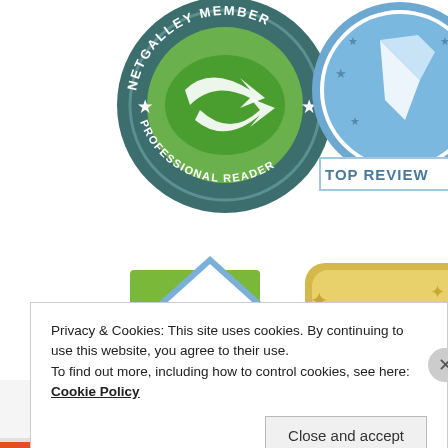[Figure (logo): NetGalley Member Professional Reader badge - circular dark teal badge with green arrow logo in center and text 'NETGALLEY MEMBER' at top and 'PROFESSIONAL READER' at bottom, with stars on sides]
[Figure (logo): Top Reviewer badge - blue circular badge with pen/quill icon and stars, with 'TOP REVIEW' text on a rectangular label below]
[Figure (logo): 10 Reviews badge - diamond shape with blue border and green background showing '10' in large gray text and 'REVIEWS' below]
[Figure (logo): 90% badge - gold/yellow rounded rectangle with sparkle stars showing '90%' in large teal text (partially visible)]
Privacy & Cookies: This site uses cookies. By continuing to use this website, you agree to their use.
To find out more, including how to control cookies, see here: Cookie Policy